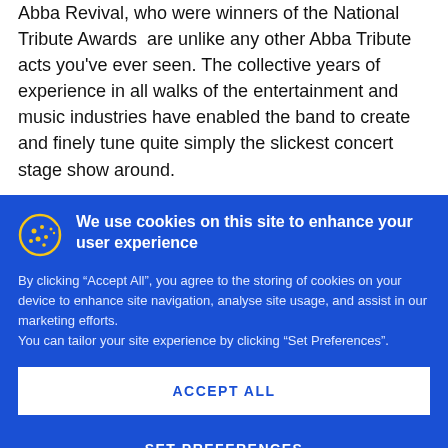Abba Revival, who were winners of the National Tribute Awards are unlike any other Abba Tribute acts you've ever seen. The collective years of experience in all walks of the entertainment and music industries have enabled the band to create and finely tune quite simply the slickest concert stage show around.
We use cookies on this site to enhance your user experience
By clicking “Accept All”, you agree to the storing of cookies on your device to enhance site navigation, analyse site usage, and assist in our marketing efforts. You can tailor your site experience by clicking “Set Preferences”.
ACCEPT ALL
SET PREFERENCES